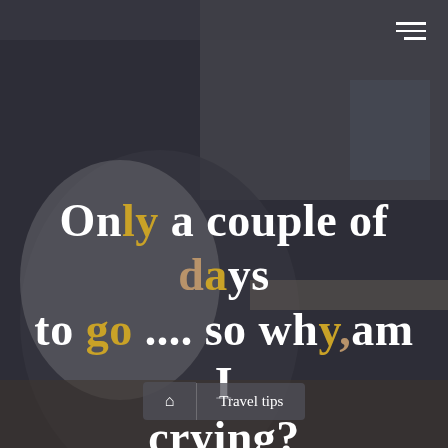[Figure (photo): Person in white shirt with sports patches leaning over a surface, photographed from behind/side in what appears to be an indoor setting with white tile walls. Dark overlay applied to entire image.]
Only a couple of days to go .... so why am I crying?
🏠  Travel tips